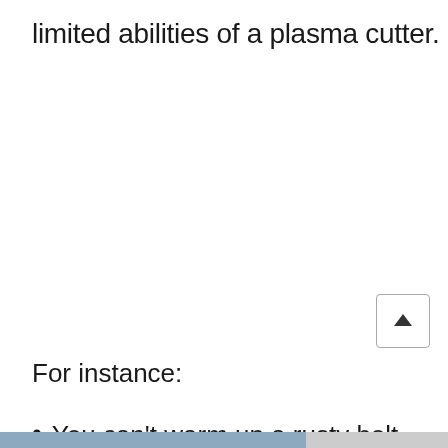limited abilities of a plasma cutter.
For instance:
You can't warm up a rusty bolt or
[Figure (screenshot): Browser overlay showing 'No compatible source was found for this' message over a gray semi-transparent box, with a close button (x) in the top-right corner]
[Figure (photo): Advertisement banner showing cargo being loaded onto an aircraft, with a dark badge reading 'WITHOUT REGARD TO POLITICS, RELIGION, OR ABILITY TO PAY']